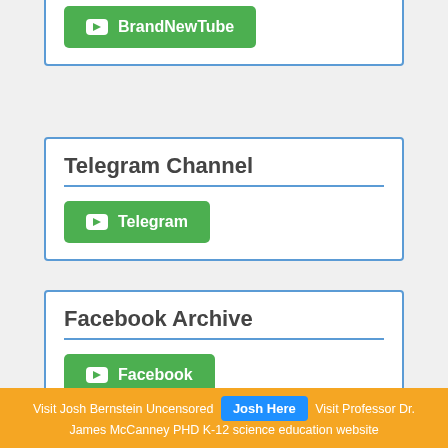BrandNewTube archive
BrandNewTube
Telegram Channel
Telegram
Facebook Archive
Facebook
Visit Josh Bernstein Uncensored  Josh Here  Visit Professor Dr. James McCanney PHD K-12 science education website